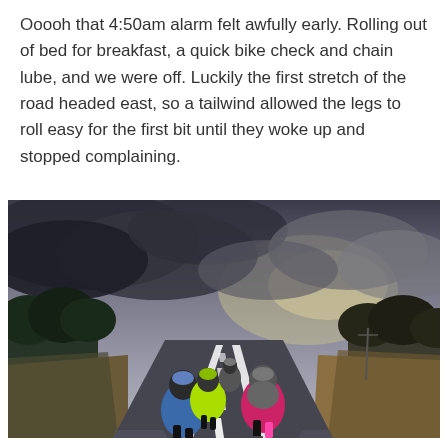Ooooh that 4:50am alarm felt awfully early. Rolling out of bed for breakfast, a quick bike check and chain lube, and we were off. Luckily the first stretch of the road headed east, so a tailwind allowed the legs to roll easy for the first bit until they woke up and stopped complaining.
[Figure (photo): Cyclists riding away from camera on a straight rural road, dramatic cloudy sky overhead, trees and bushland on either side. Riders wearing colorful cycling kit including blue, neon green, pink and grey.]